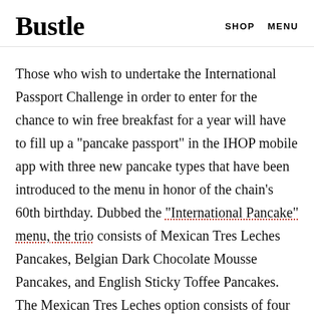Bustle   SHOP   MENU
Those who wish to undertake the International Passport Challenge in order to enter for the chance to win free breakfast for a year will have to fill up a "pancake passport" in the IHOP mobile app with three new pancake types that have been introduced to the menu in honor of the chain's 60th birthday. Dubbed the “International Pancake” menu, the trio consists of Mexican Tres Leches Pancakes, Belgian Dark Chocolate Mousse Pancakes, and English Sticky Toffee Pancakes. The Mexican Tres Leches option consists of four buttermilk pancakes layered with vanilla sauce, then topped with more vanilla sauce